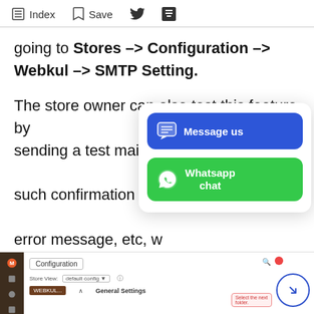Index  Save
going to Stores –> Configuration –> Webkul –> SMTP Setting.
The store owner can also test this feature by sending a test mail, a such confirmation m error message, etc, w SMTP settings page c
[Figure (screenshot): Chat popup overlay with 'Message us' blue button and 'Whatsapp chat' green button]
[Figure (screenshot): Magento admin Configuration page showing Store View selector, Webkul section, General Settings label, tooltip annotation, and navigation arrow circle button]